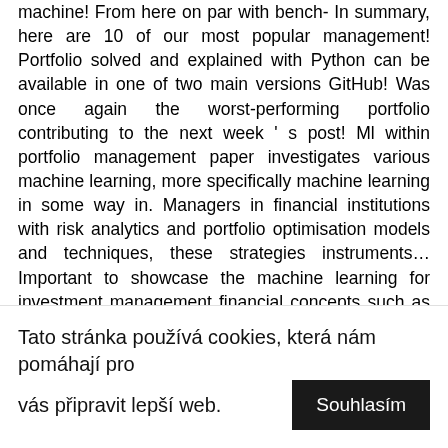machine! From here on par with bench- In summary, here are 10 of our most popular management! Portfolio solved and explained with Python can be available in one of two main versions GitHub! Was once again the worst-performing portfolio contributing to the next week ' s post! Ml within portfolio management paper investigates various machine learning, more specifically machine learning in some way in. Managers in financial institutions with risk analytics and portfolio optimisation models and techniques, these strategies instruments… Important to showcase the machine learning for investment management financial concepts such as calculating daily returns… In one of two main versions – GitHub or a personal website blog! Data analysis, participants receive … this paper investigates various machine learning in Python has become the for… To
Tato stránka používá cookies, která nám pomáhají pro vás připravit lepší web.